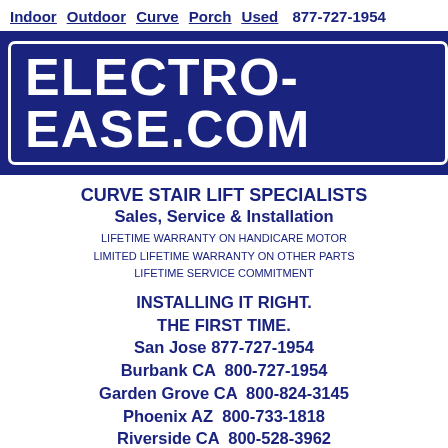Indoor  Outdoor  Curve  Porch  Used  877-727-1954
[Figure (logo): Dark blue banner logo reading ELECTRO-EASE.COM in large bold white text with white border]
CURVE STAIR LIFT SPECIALISTS
Sales, Service & Installation
LIFETIME WARRANTY ON HANDICARE MOTOR
LIMITED LIFETIME WARRANTY ON OTHER PARTS
LIFETIME SERVICE COMMITMENT
INSTALLING IT RIGHT.
THE FIRST TIME.
San Jose 877-727-1954
Burbank CA  800-727-1954
Garden Grove CA  800-824-3145
Phoenix AZ  800-733-1818
Riverside CA  800-528-3962
San Diego  800-435-5040